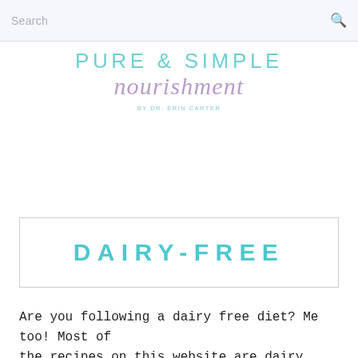Search
[Figure (logo): Pure & Simple Nourishment logo by Dr. Erin Carter. Two-line logo with 'PURE & SIMPLE' in light teal uppercase letters and 'nourishment' in purple italic script, with 'BY DR. ERIN CARTER' in small teal uppercase below.]
DAIRY-FREE
Are you following a dairy free diet? Me too! Most of the recipes on this website are dairy free so you